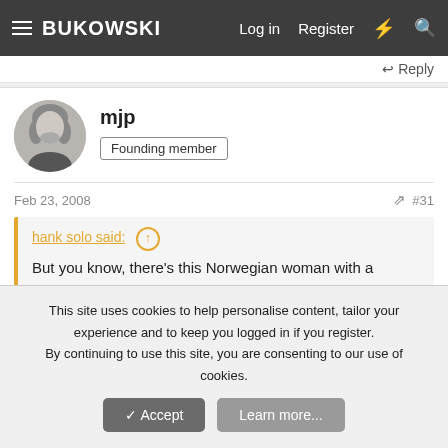BUKOWSKI — Log in  Register
↩ Reply
mjp
Founding member
Feb 23, 2008   #31
hank solo said: ↑
But you know, there's this Norwegian woman with a smokey voice... :p
Kersteenie Abjorgelsnostensen! I love her smokey music for the soundtrack of There's gonna be a god damn riot in here. You can hear it faintly in the background right around the 58
This site uses cookies to help personalise content, tailor your experience and to keep you logged in if you register.
By continuing to use this site, you are consenting to our use of cookies.
✓ Accept  Learn more...